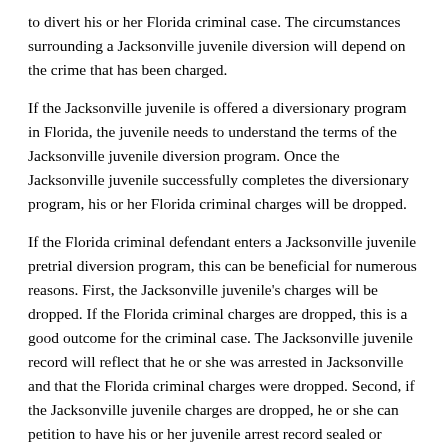to divert his or her Florida criminal case.  The circumstances surrounding a Jacksonville juvenile diversion will depend on the crime that has been charged.
If the Jacksonville juvenile is offered a diversionary program in Florida, the juvenile needs to understand the terms of the Jacksonville juvenile diversion program.  Once the Jacksonville juvenile successfully completes the diversionary program, his or her Florida criminal charges will be dropped.
If the Florida criminal defendant enters a Jacksonville juvenile pretrial diversion program, this can be beneficial for numerous reasons.  First, the Jacksonville juvenile's charges will be dropped.  If the Florida criminal charges are dropped, this is a good outcome for the criminal case.  The Jacksonville juvenile record will reflect that he or she was arrested in Jacksonville and that the Florida criminal charges were dropped.  Second, if the Jacksonville juvenile charges are dropped, he or she can petition to have his or her juvenile arrest record sealed or expunged in Florida.  As a juvenile criminal defendant that is expunging a record in Jacksonville, he or she may opt to expunge his or her record under the Florida juvenile expunction laws or the Florida adult expunction statute.
Before moving forward with a Jacksonville juvenile criminal case, it is important to talk to a Jacksonville criminal defense attorney.  A Jacksonville juvenile lawyer can help you decide what route to take in